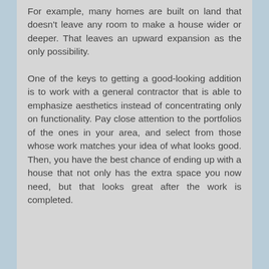For example, many homes are built on land that doesn't leave any room to make a house wider or deeper. That leaves an upward expansion as the only possibility.
One of the keys to getting a good-looking addition is to work with a general contractor that is able to emphasize aesthetics instead of concentrating only on functionality. Pay close attention to the portfolios of the ones in your area, and select from those whose work matches your idea of what looks good. Then, you have the best chance of ending up with a house that not only has the extra space you now need, but that looks great after the work is completed.